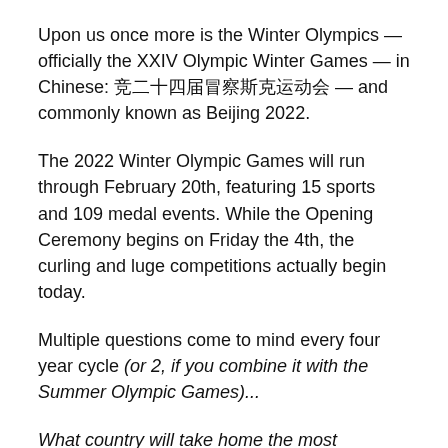Upon us once more is the Winter Olympics — officially the XXIV Olympic Winter Games — in Chinese: 第二十四届冬季奥林匹克运动会 — and commonly known as Beijing 2022.
The 2022 Winter Olympic Games will run through February 20th, featuring 15 sports and 109 medal events. While the Opening Ceremony begins on Friday the 4th, the curling and luge competitions actually begin today.
Multiple questions come to mind every four year cycle (or 2, if you combine it with the Summer Olympic Games)...
What country will take home the most medals?
How will the United States fare?
What sport(s) will be most dominant?